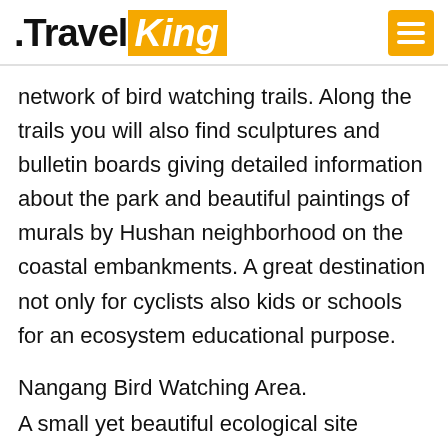.TravelKing
network of bird watching trails. Along the trails you will also find sculptures and bulletin boards giving detailed information about the park and beautiful paintings of murals by Hushan neighborhood on the coastal embankments. A great destination not only for cyclists also kids or schools for an ecosystem educational purpose.
Nangang Bird Watching Area.
A small yet beautiful ecological site designed by the Hsinchu City government. Throughout the year, a great range of migratory birds are seen here. The ponds located inside the embankment are made from